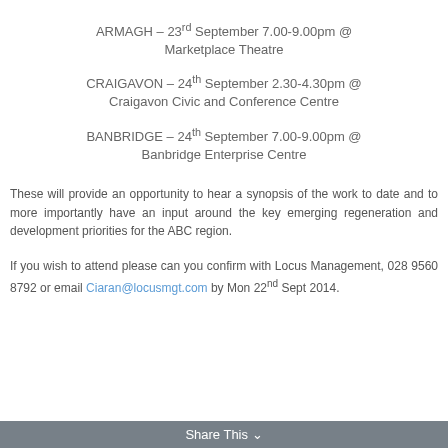ARMAGH – 23rd September 7.00-9.00pm @ Marketplace Theatre
CRAIGAVON – 24th September 2.30-4.30pm @ Craigavon Civic and Conference Centre
BANBRIDGE – 24th September 7.00-9.00pm @ Banbridge Enterprise Centre
These will provide an opportunity to hear a synopsis of the work to date and to more importantly have an input around the key emerging regeneration and development priorities for the ABC region.
If you wish to attend please can you confirm with Locus Management, 028 9560 8792 or email Ciaran@locusmgt.com by Mon 22nd Sept 2014.
Share This